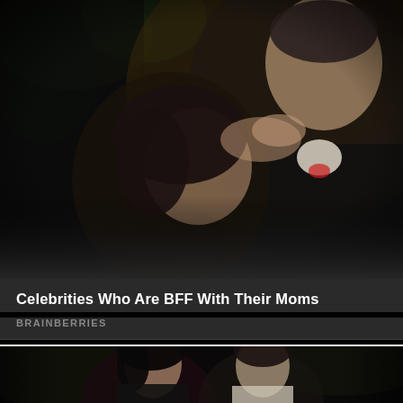[Figure (photo): A woman looking up at a man in a tuxedo with a bow tie, both in close proximity at what appears to be a formal event. Background has plants and decorative elements.]
Celebrities Who Are BFF With Their Moms
BRAINBERRIES
[Figure (photo): Two young people standing together — a woman with dark hair wearing a black tank top and a necklace, and a person in a white tank top. Background is dark with foliage.]